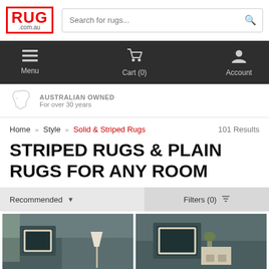[Figure (logo): RUG.com.au logo in red with border]
Search for rugs...
Menu | Cart (0) | Account
AUSTRALIAN OWNED
For over 30 years
Home » Style » Solid & Striped Rugs   101 Results
STRIPED RUGS & PLAIN RUGS FOR ANY ROOM
Recommended ▼   Filters (0) ▼
[Figure (photo): Room interior with rug, lamp and dark walls - left product]
[Figure (photo): Room interior with rug, nightstand and dark walls - right product]